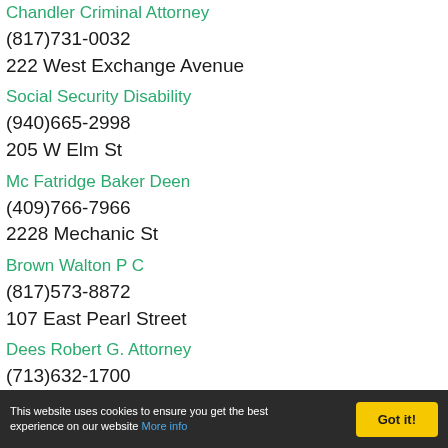(partial top name - truncated at top)
(817)731-0032
222 West Exchange Avenue
Social Security Disability
(940)665-2998
205 W Elm St
Mc Fatridge Baker Deen
(409)766-7966
2228 Mechanic St
Brown Walton P C
(817)573-8872
107 East Pearl Street
Dees Robert G. Attorney
(713)632-1700
808 Travis Suite 1800
Hoover Diana L. Attorney (partial)
This website uses cookies to ensure you get the best experience on our website More info Got it!